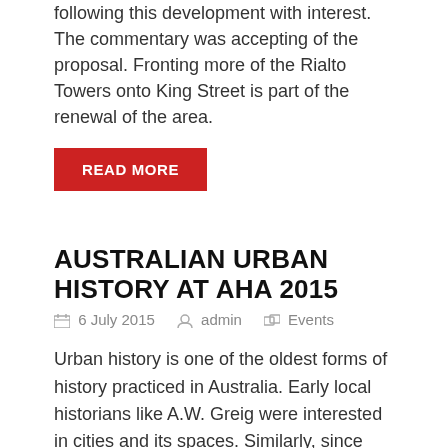following this development with interest. The commentary was accepting of the proposal. Fronting more of the Rialto Towers onto King Street is part of the renewal of the area.
READ MORE
AUSTRALIAN URBAN HISTORY AT AHA 2015
6 July 2015   admin   Events
Urban history is one of the oldest forms of history practiced in Australia. Early local historians like A.W. Greig were interested in cities and its spaces. Similarly, since World War II, the Australian city has been subject to much local and academic historical analysis, and remains a perennially popular topic.
READ MORE